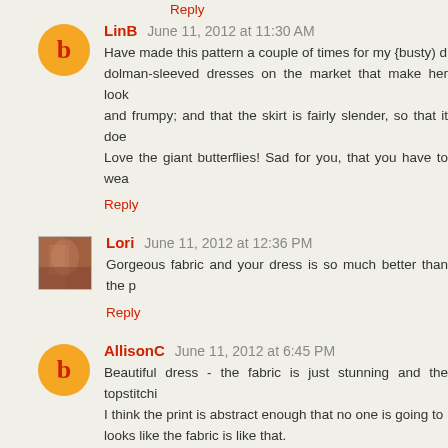Reply
LinB  June 11, 2012 at 11:30 AM
Have made this pattern a couple of times for my {busty} dolman-sleeved dresses on the market that make her look and frumpy; and that the skirt is fairly slender, so that it doe Love the giant butterflies! Sad for you, that you have to wea
Reply
Lori  June 11, 2012 at 12:36 PM
Gorgeous fabric and your dress is so much better than the p
Reply
AllisonC  June 11, 2012 at 6:45 PM
Beautiful dress - the fabric is just stunning and the topstitch I think the print is abstract enough that no one is going to looks like the fabric is like that.
Reply